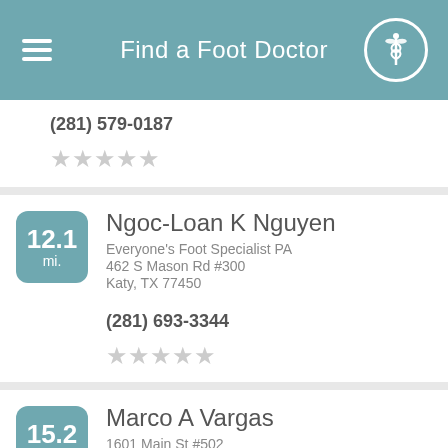Find a Foot Doctor
(281) 579-0187
[Figure (other): 5 empty star rating icons]
Ngoc-Loan K Nguyen, Everyone's Foot Specialist PA, 462 S Mason Rd #300, Katy, TX 77450
(281) 693-3344
[Figure (other): 5 empty star rating icons]
Marco A Vargas, 1601 Main St #502, Richmond, TX 77469
(281) 342-8700